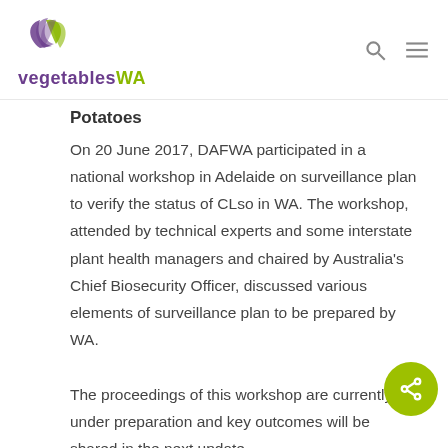vegetablesWA
Potatoes
On 20 June 2017, DAFWA participated in a national workshop in Adelaide on surveillance plan to verify the status of CLso in WA. The workshop, attended by technical experts and some interstate plant health managers and chaired by Australia's Chief Biosecurity Officer, discussed various elements of surveillance plan to be prepared by WA.
The proceedings of this workshop are currently under preparation and key outcomes will be shared in the next update.